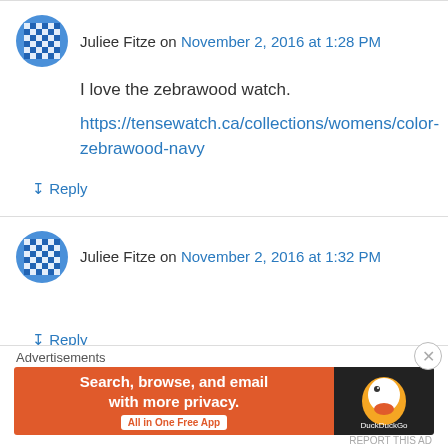Juliee Fitze on November 2, 2016 at 1:28 PM
I love the zebrawood watch.
https://tensewatch.ca/collections/womens/color-zebrawood-navy
↳ Reply
Juliee Fitze on November 2, 2016 at 1:32 PM
↳ Reply
Advertisements
[Figure (screenshot): DuckDuckGo ad banner: orange background with text 'Search, browse, and email with more privacy. All in One Free App' and DuckDuckGo logo on dark right panel]